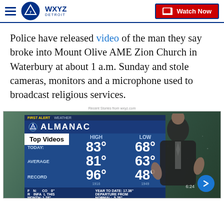WXYZ Detroit — Watch Now
Police have released video of the man they say broke into Mount Olive AME Zion Church in Waterbury at about 1 a.m. Sunday and stole cameras, monitors and a microphone used to broadcast religious services.
Recent Stories from wxyz.com
[Figure (screenshot): Weather broadcast screenshot showing WXYZ Detroit FIRST ALERT WEATHER ALMANAC card with TODAY HIGH 83° LOW 68°, AVERAGE HIGH 81° LOW 63°, RECORD HIGH 96° (1916) LOW 48° (1949), FUN: COO 0" RAINFALL THIS MONTH: 1.28", YEAR TO DATE: 17.36", DEPARTURE FROM NORMAL: -5.28". A 'Top Videos' label overlays the left side. A male news presenter stands on the right against a rainy weather background. Timestamp 6:24 visible bottom right.]